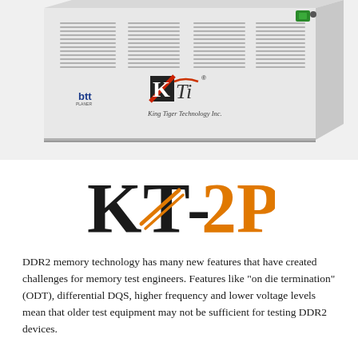[Figure (photo): Photo of a white rack-mounted test equipment unit with ventilation grilles on the front panel. The unit displays the KTI (King Tiger Technology Inc.) logo in the center and a 'btt' logo on the left. A green power button is visible on the top right corner.]
[Figure (logo): KT-2P product logo. 'KT' in large black serif letters with orange diagonal lines across the T, followed by '-2P' in orange.]
DDR2 memory technology has many new features that have created challenges for memory test engineers. Features like "on die termination" (ODT), differential DQS, higher frequency and lower voltage levels mean that older test equipment may not be sufficient for testing DDR2 devices.